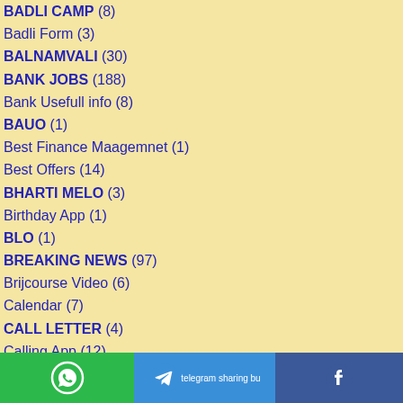BADLI CAMP (8)
Badli Form (3)
BALNAMVALI (30)
BANK JOBS (188)
Bank Usefull info (8)
BAUO (1)
Best Finance Maagemnet (1)
Best Offers (14)
BHARTI MELO (3)
Birthday App (1)
BLO (1)
BREAKING NEWS (97)
Brijcourse Video (6)
Calendar (7)
CALL LETTER (4)
Calling App (12)
Card Maker App (1)
WhatsApp | Telegram | Facebook sharing buttons